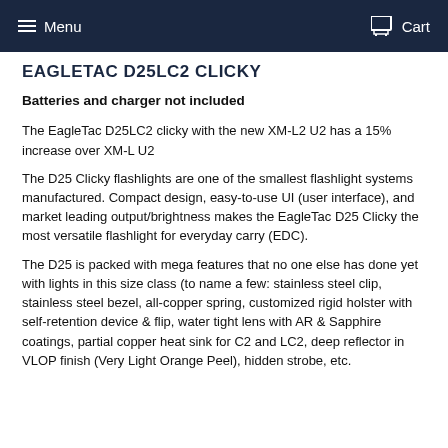Menu  Cart
EAGLETAC D25LC2 CLICKY
Batteries and charger not included
The EagleTac D25LC2 clicky with the new XM-L2 U2 has a 15% increase over XM-L U2
The D25 Clicky flashlights are one of the smallest flashlight systems manufactured. Compact design, easy-to-use UI (user interface), and market leading output/brightness makes the EagleTac D25 Clicky the most versatile flashlight for everyday carry (EDC).
The D25 is packed with mega features that no one else has done yet with lights in this size class (to name a few: stainless steel clip, stainless steel bezel, all-copper spring, customized rigid holster with self-retention device & flip, water tight lens with AR & Sapphire coatings, partial copper heat sink for C2 and LC2, deep reflector in VLOP finish (Very Light Orange Peel), hidden strobe, etc.